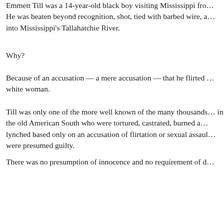Emmett Till was a 14-year-old black boy visiting Mississippi fro… He was beaten beyond recognition, shot, tied with barbed wire, a… into Mississippi's Tallahatchie River.
Why?
Because of an accusation — a mere accusation — that he flirted … white woman.
Till was only one of the more well known of the many thousands… in the old American South who were tortured, castrated, burned a… lynched based only on an accusation of flirtation or sexual assaul… were presumed guilty.
There was no presumption of innocence and no requirement of d…
With this despicable history as backdrop, it is more than disgusti… Democrats in the United States Senate trample the basic principle… presumption of innocence and apply the old South standard of pr… of guilt once applied to blacks to Supreme Court nominee Brett K…
For Kavanaugh, just as was the case for black males in the old So… is no presumption of innocence and no requirement of due proce… enemies.
Yesterday, blacks' enemies were Democrat segregationists and th… troops in the Klu Klux Klan.